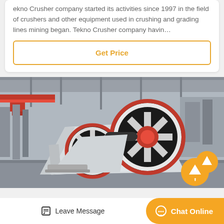ekno Crusher company started its activities since 1997 in the field of crushers and other equipment used in crushing and grading lines mining began. Tekno Crusher company havin…
Get Price
[Figure (photo): Industrial jaw crusher machine with large red-rimmed white flywheels in a factory setting]
Leave Message
Chat Online